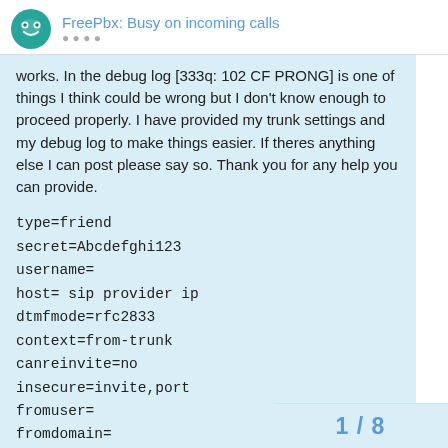FreePbx: Busy on incoming calls
works. In the debug log [333q: 102 CF PRONG] is one of things I think could be wrong but I don't know enough to proceed properly. I have provided my trunk settings and my debug log to make things easier. If theres anything else I can post please say so. Thank you for any help you can provide.
type=friend
secret=Abcdefghi123
username=
host= sip provider ip
dtmfmode=rfc2833
context=from-trunk
canreinvite=no
insecure=invite,port
fromuser=
fromdomain=
allow=all
nat=yes
port=5060
1 / 8